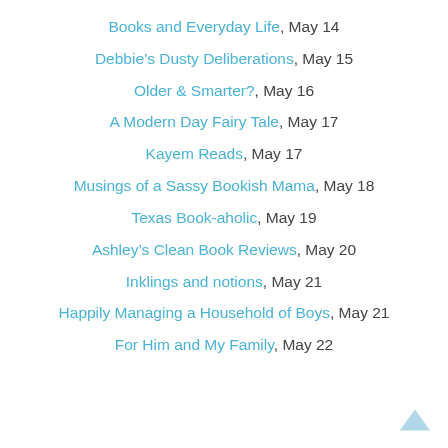Books and Everyday Life, May 14
Debbie's Dusty Deliberations, May 15
Older & Smarter?, May 16
A Modern Day Fairy Tale, May 17
Kayem Reads, May 17
Musings of a Sassy Bookish Mama, May 18
Texas Book-aholic, May 19
Ashley's Clean Book Reviews, May 20
Inklings and notions, May 21
Happily Managing a Household of Boys, May 21
For Him and My Family, May 22